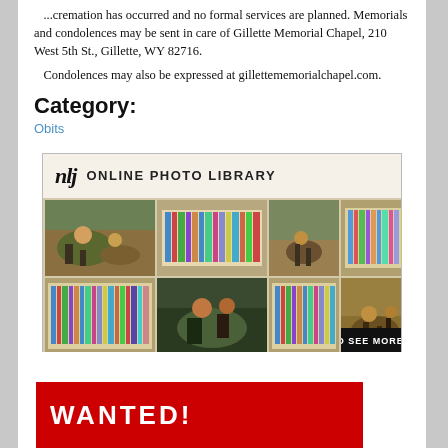...cremation has occurred and no formal services are planned. Memorials and condolences may be sent in care of Gillette Memorial Chapel, 210 West 5th St., Gillette, WY 82716.
Condolences may also be expressed at gillettememorialchapel.com.
Category:
Obits
[Figure (illustration): NLJ Online Photo Library advertisement banner showing a grid of photos including rodeo and library scenes with 'Click to See More' text]
[Figure (illustration): Bottom portion of a 'WANTED!' advertisement banner in red with white text]